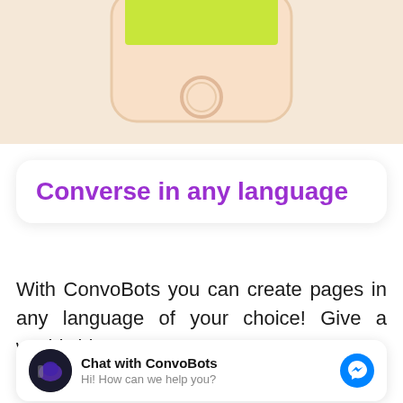[Figure (illustration): Top portion of a smartphone (iPhone-style) with a green bar on screen, shown from the bottom on a light peach/beige background.]
Converse in any language
With ConvoBots you can create pages in any language of your choice! Give a worldwide
[Figure (screenshot): Chat widget showing ConvoBots avatar, 'Chat with ConvoBots' title, 'Hi! How can we help you?' subtitle, and a Facebook Messenger icon on the right.]